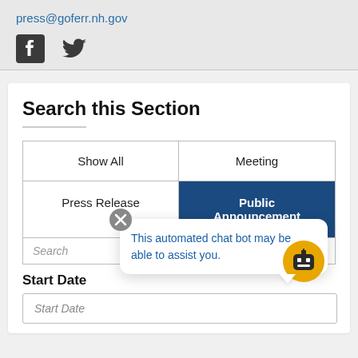press@goferr.nh.gov
[Figure (other): Facebook and Twitter social media icons]
Search this Section
[Figure (screenshot): Filter buttons: Show All, Meeting, Press Release, Public Announcement (active/selected in dark blue)]
Search
Start Date
Start Date (input field)
[Figure (other): Chatbot popup with close button and robot avatar. Text: This automated chat bot may be able to assist you.]